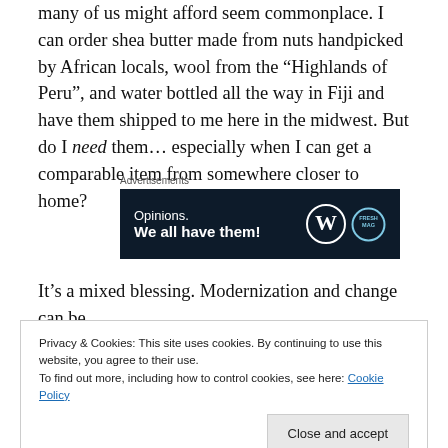many of us might afford seem commonplace. I can order shea butter made from nuts handpicked by African locals, wool from the “Highlands of Peru”, and water bottled all the way in Fiji and have them shipped to me here in the midwest. But do I need them… especially when I can get a comparable item from somewhere closer to home?
[Figure (screenshot): Advertisement banner with dark navy background. Text reads 'Opinions. We all have them!' with WordPress logo and FreshMag logo on the right.]
It’s a mixed blessing. Modernization and change can be
Privacy & Cookies: This site uses cookies. By continuing to use this website, you agree to their use. To find out more, including how to control cookies, see here: Cookie Policy
Just like I have doubts about processed foods, I have